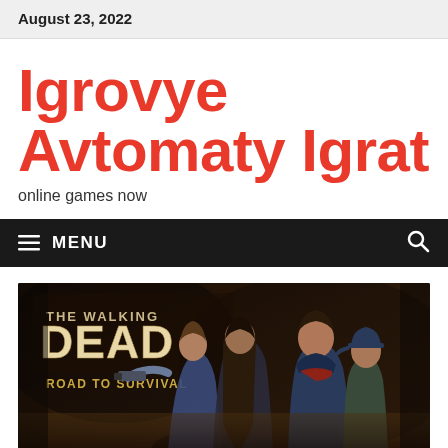August 23, 2022
Igrovye Avtomaty Igrat
online games now
MENU
[Figure (screenshot): The Walking Dead: Road to Survival game banner showing characters with dark moody background]